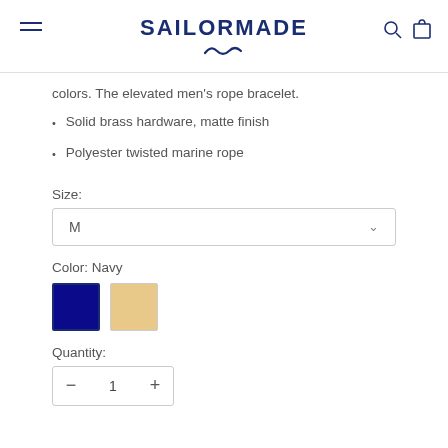SAILORMADE
colors. The elevated men’s rope bracelet.
Solid brass hardware, matte finish
Polyester twisted marine rope
Size:
M
Color: Navy
Quantity:
1